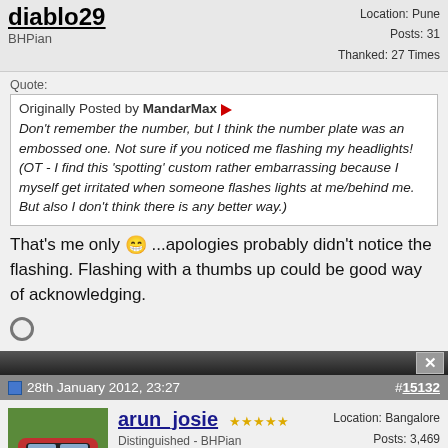diablo29 | BHPian | Location: Pune | Posts: 31 | Thanked: 27 Times
Quote: Originally Posted by MandarMax Don't remember the number, but I think the number plate was an embossed one. Not sure if you noticed me flashing my headlights! (OT - I find this 'spotting' custom rather embarrassing because I myself get irritated when someone flashes lights at me/behind me. But also I don't think there is any better way.)
That's me only 😁 ...apologies probably didn't notice the flashing. Flashing with a thumbs up could be good way of acknowledging.
28th January 2012, 23:27 | #15132
arun_josie | Distinguished - BHPian | Location: Bangalore | Posts: 3,469 | Thanked: 10,945 Times